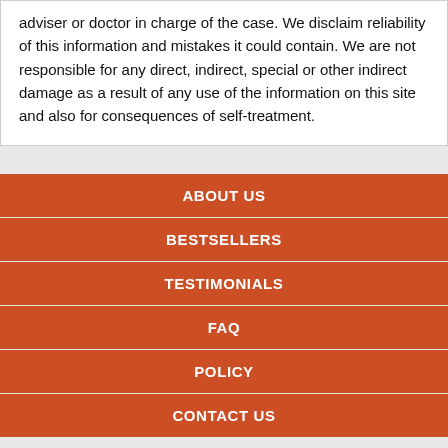adviser or doctor in charge of the case. We disclaim reliability of this information and mistakes it could contain. We are not responsible for any direct, indirect, special or other indirect damage as a result of any use of the information on this site and also for consequences of self-treatment.
ABOUT US
BESTSELLERS
TESTIMONIALS
FAQ
POLICY
CONTACT US
AFFILIATE PROGRAM
US: +1 748 427 8799